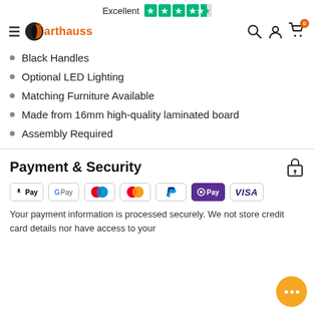Excellent ★★★★☆ (Trustpilot)
arthauss navigation header with logo, search, account, cart icons
Black Handles
Optional LED Lighting
Matching Furniture Available
Made from 16mm high-quality laminated board
Assembly Required
Payment & Security
[Figure (logo): Payment method icons: Apple Pay, Google Pay, Maestro, Mastercard, PayPal, OPay, Visa]
Your payment information is processed securely. We not store credit card details nor have access to your